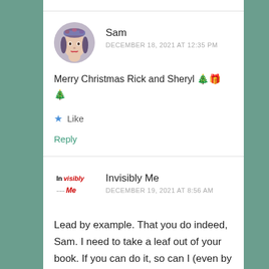Sam
DECEMBER 18, 2021 AT 12:35 PM
Merry Christmas Rick and Sheryl 🎄🎁🎄
★ Like
Reply
Invisibly Me
DECEMBER 19, 2021 AT 8:56 AM
Lead by example. That you do indeed, Sam. I need to take a leaf out of your book. If you can do it, so can I (even by the simplest steps at the end).